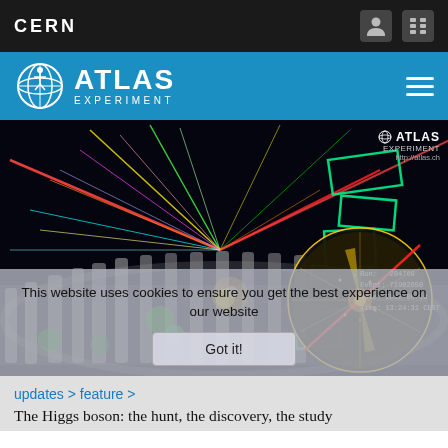CERN
ATLAS EXPERIMENT
[Figure (photo): ATLAS detector event display showing particle collision tracks with colorful jets, green geometric detector components, ATLAS Experiment logo and http://atlas.ch watermark, and a circular cross-section collision event display in the lower right. Run: 204769, Event: 71902650, Date: 2012-06-10, Time: 13:24:31 CEST.]
This website uses cookies to ensure you get the best experience on our website
Got it!
updates > feature >
The Higgs boson: the hunt, the discovery, the study